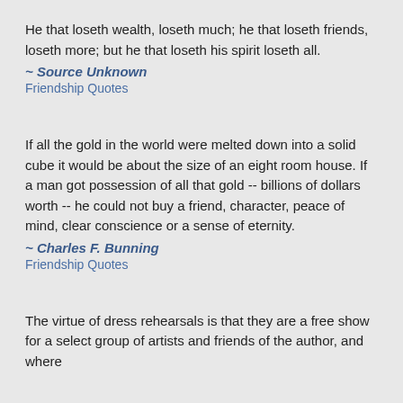He that loseth wealth, loseth much; he that loseth friends, loseth more; but he that loseth his spirit loseth all.
~ Source Unknown
Friendship Quotes
If all the gold in the world were melted down into a solid cube it would be about the size of an eight room house. If a man got possession of all that gold -- billions of dollars worth -- he could not buy a friend, character, peace of mind, clear conscience or a sense of eternity.
~ Charles F. Bunning
Friendship Quotes
The virtue of dress rehearsals is that they are a free show for a select group of artists and friends of the author, and where